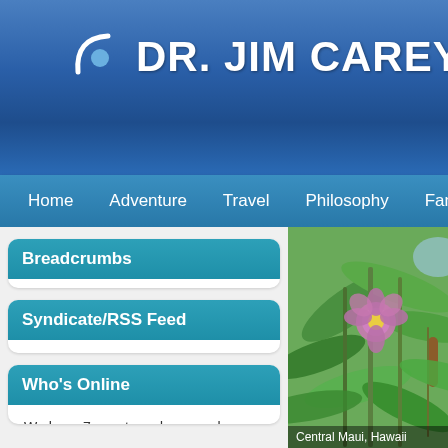DR. JIM CAREY, PhD.
Home | Adventure | Travel | Philosophy | Family | Health
Breadcrumbs
You are here: Home
Syndicate/RSS Feed
Feed Entries
Who's Online
We have 7 guests and no members online
[Figure (photo): Close-up photo of tropical plants with a pink flower and brown seed pod, Central Maui, Hawaii]
Central Maui, Hawaii